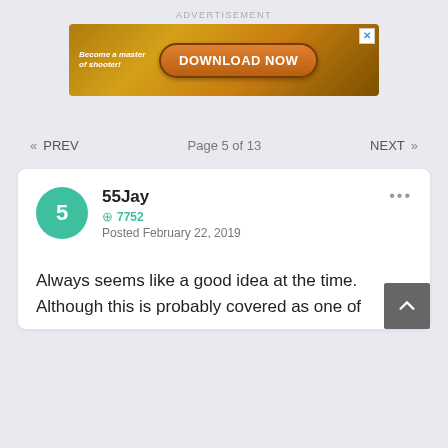ADVERTISEMENT
[Figure (illustration): Advertisement banner for a mobile game with text 'Become a master of shooter!' and 'DOWNLOAD NOW' button on an orange/brown gradient background with game graphics]
« PREV   Page 5 of 13   NEXT »
55Jay
⊕ 7752
Posted February 22, 2019
Always seems like a good idea at the time. Although this is probably covered as one of